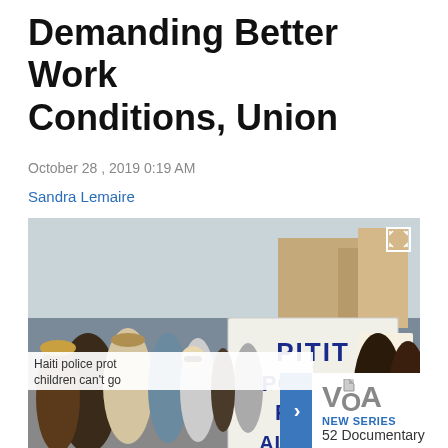Demanding Better Work Conditions, Union
October 28, 2019 0:19 AM
Sandra Lemaire
[Figure (photo): Protest march in Haiti with crowd holding a large sign reading 'PITIT POLISYE PA KA AL LEKÒL' and smaller signs in background. People marching in street.]
Haiti police prot... children can't go...
NEW SERIES
52 Documentary